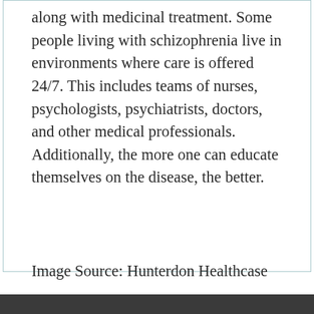along with medicinal treatment. Some people living with schizophrenia live in environments where care is offered 24/7. This includes teams of nurses, psychologists, psychiatrists, doctors, and other medical professionals. Additionally, the more one can educate themselves on the disease, the better.
Image Source: Hunterdon Healthcase